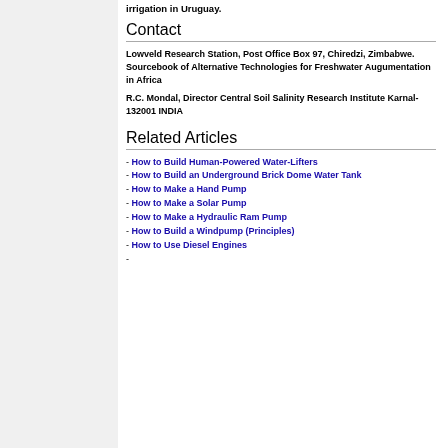irrigation in Uruguay.
Contact
Lowveld Research Station, Post Office Box 97, Chiredzi, Zimbabwe. Sourcebook of Alternative Technologies for Freshwater Augumentation in Africa
R.C. Mondal, Director Central Soil Salinity Research Institute Karnal-132001 INDIA
Related Articles
How to Build Human-Powered Water-Lifters
How to Build an Underground Brick Dome Water Tank
How to Make a Hand Pump
How to Make a Solar Pump
How to Make a Hydraulic Ram Pump
How to Build a Windpump (Principles)
How to Use Diesel Engines